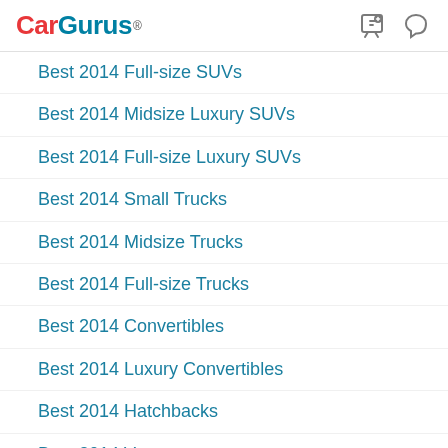CarGurus®
Best 2014 Full-size SUVs
Best 2014 Midsize Luxury SUVs
Best 2014 Full-size Luxury SUVs
Best 2014 Small Trucks
Best 2014 Midsize Trucks
Best 2014 Full-size Trucks
Best 2014 Convertibles
Best 2014 Luxury Convertibles
Best 2014 Hatchbacks
Best 2014 Vans
Best 2014 Minivans
Best 2014 Coupes